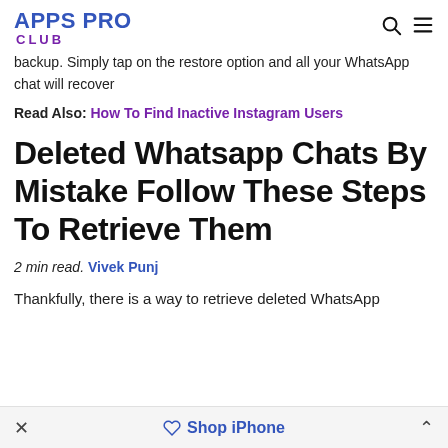APPS PRO CLUB
backup. Simply tap on the restore option and all your WhatsApp chat will recover
Read Also: How To Find Inactive Instagram Users
Deleted Whatsapp Chats By Mistake Follow These Steps To Retrieve Them
2 min read. Vivek Punj
Thankfully, there is a way to retrieve deleted WhatsApp
× Shop iPhone ^